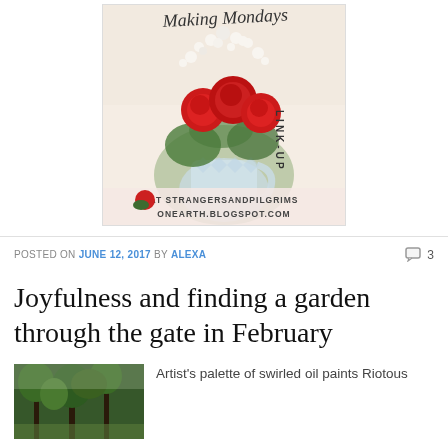[Figure (illustration): Making Mondays Link-Up banner with red roses and white flowers in a crystal vase, text 'AT STRANGERSANDPILGRIMS ONEARTH.BLOGSPOT.COM']
POSTED ON JUNE 12, 2017 BY ALEXA   3
Joyfulness and finding a garden through the gate in February
[Figure (photo): Thumbnail photo of green trees/garden scene]
Artist's palette of swirled oil paints Riotous